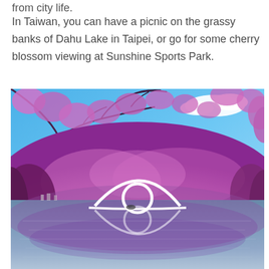from city life.
In Taiwan, you can have a picnic on the grassy banks of Dahu Lake in Taipei, or go for some cherry blossom viewing at Sunshine Sports Park.
[Figure (photo): A scenic photo of Dahu Lake in Taipei, Taiwan. The foreground shows a white arched bridge (Moon Bridge) with a circular opening, reflected perfectly in the calm lake water. The surrounding hills and trees are covered in vivid pink and purple cherry blossoms. The upper portion shows a bright blue sky with a white cloud and overhanging cherry blossom branches in pink-purple tones.]